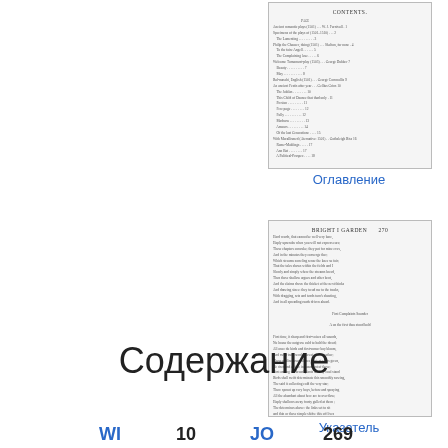[Figure (illustration): Thumbnail of a 'CONTENTS' page from a book, showing a table of contents with multiple entries and page numbers]
Оглавление
[Figure (illustration): Thumbnail of a book page with poetry text, showing verse in small print]
Указатель
Содержание
WI  10  JO  269